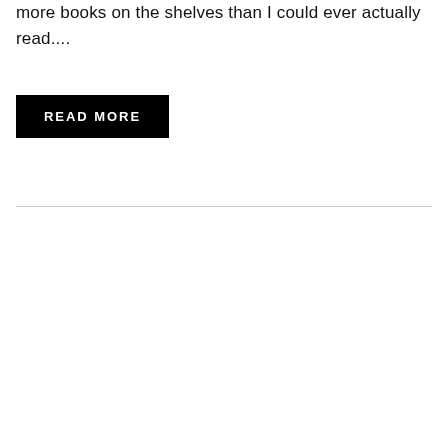more books on the shelves than I could ever actually read....
READ MORE